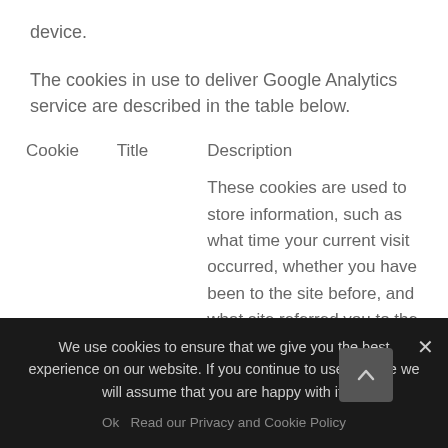device.
The cookies in use to deliver Google Analytics service are described in the table below.
| Cookie | Title | Description |
| --- | --- | --- |
|  |  | These cookies are used to store information, such as what time your current visit occurred, whether you have been to the site before, and what site referred you to the web |
We use cookies to ensure that we give you the best experience on our website. If you continue to use this site we will assume that you are happy with it.
Ok   Read our Privacy and Cookie Policy